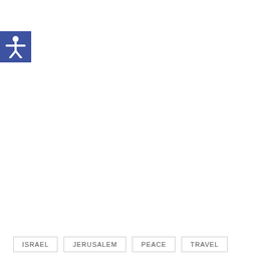[Figure (illustration): Accessibility icon: white figure with arms outstretched on a blue square background]
ISRAEL
JERUSALEM
PEACE
TRAVEL